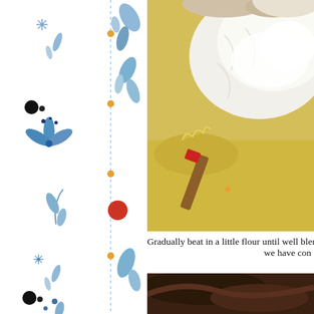[Figure (illustration): Decorative floral and botanical blue watercolor illustrations arranged vertically along the left margin, with small colored dots (orange, red, black) as accents and a thin vertical dashed/dotted blue line]
[Figure (photo): Close-up photo of dough being mixed in a yellow bowl with flour being added, a red-tipped wooden spatula visible]
Gradually beat in a little flour until well blended . . . we have con
[Figure (photo): Bottom partial photo showing dark brown background, likely hair or another cooking scene]